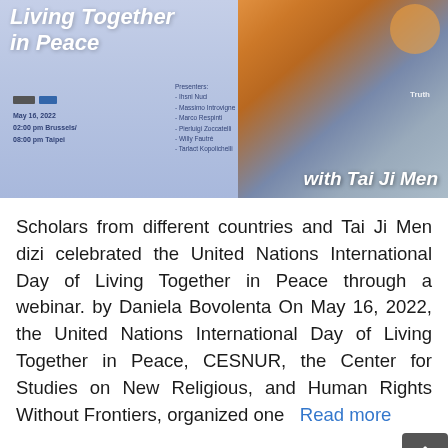[Figure (photo): Webinar poster/banner for 'Living Together in Peace with Tai Ji Men' showing children celebrating, blue and orange background, with presenter names and event date May 16, 2022, 02:00 pm Brussels / 08:00 pm Taipei]
Scholars from different countries and Tai Ji Men dizi celebrated the United Nations International Day of Living Together in Peace through a webinar. by Daniela Bovolenta On May 16, 2022, the United Nations International Day of Living Together in Peace, CESNUR, the Center for Studies on New Religious, and Human Rights Without Frontiers, organized one... Read more